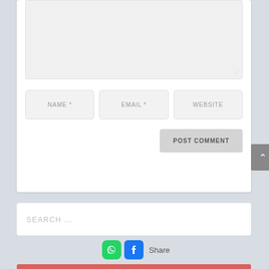[Figure (screenshot): Comment form with textarea (gray), three input fields (NAME *, EMAIL *, WEBSITE), and POST COMMENT button]
[Figure (screenshot): Search bar with placeholder text SEARCH ...]
[Figure (infographic): Share icons: WhatsApp (green) and Facebook (blue) with Share label]
[Figure (screenshot): Red/pink Recent Posts bar at bottom, partially visible]